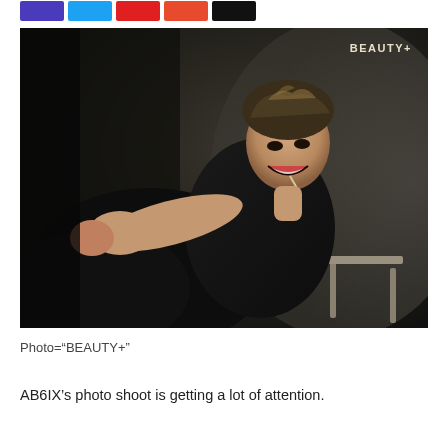[Figure (other): Row of five colored social sharing icon buttons: purple, blue, red, orange, black]
[Figure (photo): Magazine photo shoot image of an AB6IX member sitting casually on a chair against a dark wall, wearing a sleeveless black top, smiling at camera with styled messy hair. 'BEAUTY+' watermark visible in the upper right corner.]
Photo="BEAUTY+"
AB6IX's photo shoot is getting a lot of attention.